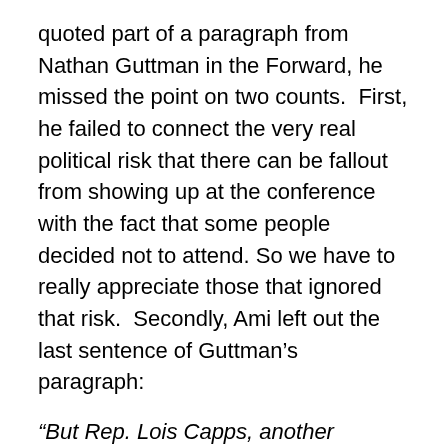quoted part of a paragraph from Nathan Guttman in the Forward, he missed the point on two counts. First, he failed to connect the very real political risk that there can be fallout from showing up at the conference with the fact that some people decided not to attend. So we have to really appreciate those that ignored that risk. Secondly, Ami left out the last sentence of Guttman's paragraph:
“But Rep. Lois Capps, another California Democrat who is endorsed by J StreetPAC, said that there is a “noticeable change” in Congress and more openness to listening to other views on Israel.”
I have personally heard from many Congressmen and women how thankful they are that J Street exists. It has allowed many of them to be bolder and more outspoken in their positions than they could ever have been if it was not